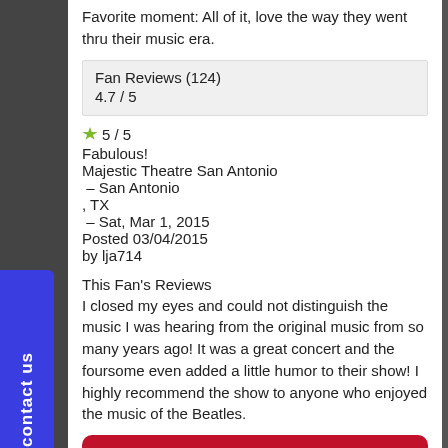Favorite moment: All of it, love the way they went thru their music era.
| Fan Reviews (124) |
| 4.7 / 5 |
5 / 5
Fabulous!
Majestic Theatre San Antonio
 – San Antonio
, TX
 – Sat, Mar 1, 2015
Posted 03/04/2015
by lja714
This Fan's Reviews
I closed my eyes and could not distinguish the music I was hearing from the original music from so many years ago! It was a great concert and the foursome even added a little humor to their show! I highly recommend the show to anyone who enjoyed the music of the Beatles.
[Figure (other): Buy Tickets button — red rounded rectangle with white bold text]